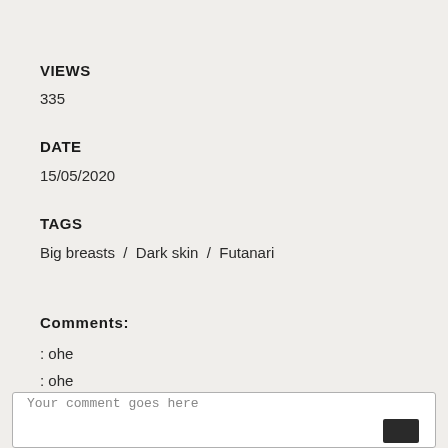VIEWS
335
DATE
15/05/2020
TAGS
Big breasts  /  Dark skin  /  Futanari
Comments:
: ohe
: ohe
Your comment goes here